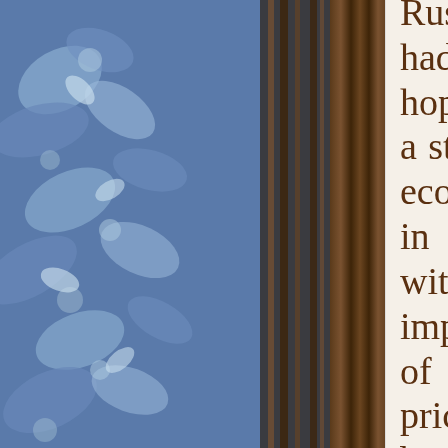[Figure (photo): Left side of page showing a decorative blue floral fabric or wallpaper pattern with a dark wooden book spine/binding visible on the right edge of the image]
Russians had hoped for a stronger economy in 2017 with the improvement of oil prices, but, as of 14 Jun 2017, the U.S. Senate approved still more